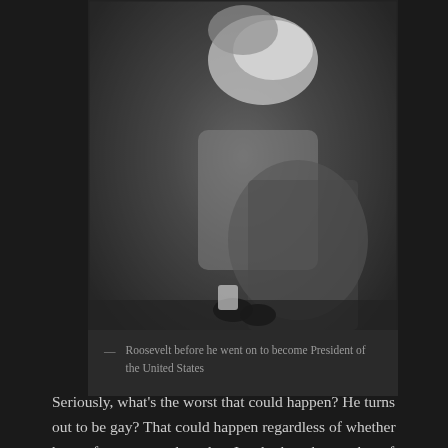[Figure (photo): Black and white historical photograph of a young child (Roosevelt as a toddler) wearing a dress, hat with large bow, and Mary Jane shoes, sitting near what appears to be a mossy log or stump.]
— Roosevelt before he went on to become President of the United States
Seriously, what's the worst that could happen? He turns out to be gay? That could happen regardless of whether he conforms to gender roles. Just look at the number of gay-hating Republicans putting on a manly front only to turn out to be gayer than the Village People when people aren't looking. He could end up a transvestite? A number of men have managed to be quite successful while wearing women's clothing. Perhaps he'll grow up and